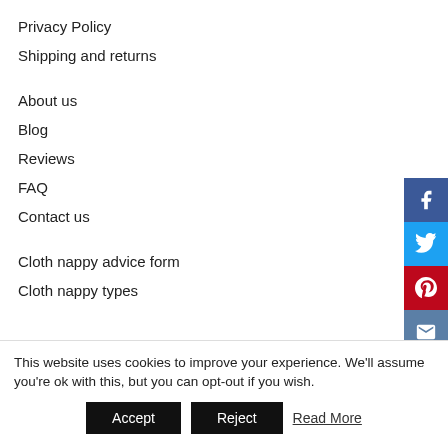Privacy Policy
Shipping and returns
About us
Blog
Reviews
FAQ
Contact us
Cloth nappy advice form
Cloth nappy types
[Figure (other): Social media share buttons: Facebook (blue), Twitter (blue), Pinterest (red), Email (blue-grey), displayed vertically on the right side]
This website uses cookies to improve your experience. We'll assume you're ok with this, but you can opt-out if you wish.
Accept | Reject | Read More